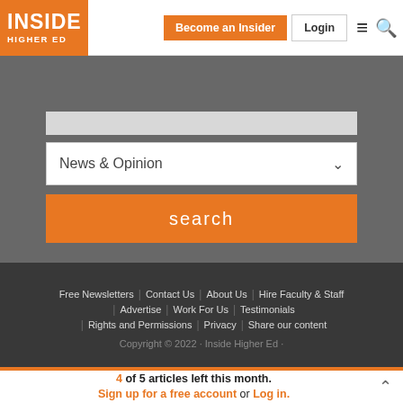[Figure (logo): Inside Higher Ed logo — white text on orange background]
Become an Insider | Login
[Figure (screenshot): Search section with a text input bar, a News & Opinion dropdown, and an orange search button, all on a grey background]
Free Newsletters | Contact Us | About Us | Hire Faculty & Staff | Advertise | Work For Us | Testimonials | Rights and Permissions | Privacy | Share our content
Copyright © 2022 · Inside Higher Ed ·
4 of 5 articles left this month. Sign up for a free account or Log in.